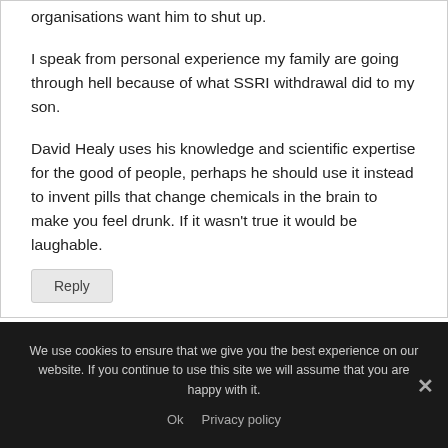organisations want him to shut up.
I speak from personal experience my family are going through hell because of what SSRI withdrawal did to my son.
David Healy uses his knowledge and scientific expertise for the good of people, perhaps he should use it instead to invent pills that change chemicals in the brain to make you feel drunk. If it wasn't true it would be laughable.
Reply
We use cookies to ensure that we give you the best experience on our website. If you continue to use this site we will assume that you are happy with it.
Ok   Privacy policy